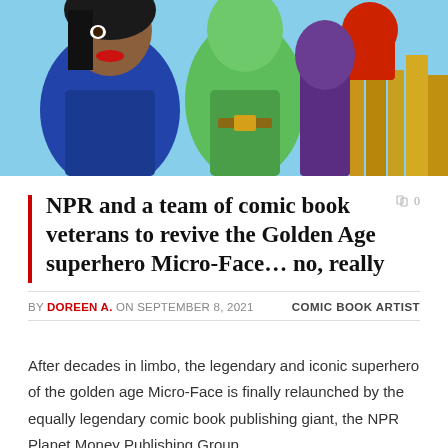[Figure (illustration): Comic book style illustration showing a woman with dark hair and red lipstick on the left, a green-skinned superhero character in the center-back, and another character with a red fist on the right, with a city skyline in the background.]
NPR and a team of comic book veterans to revive the Golden Age superhero Micro-Face… no, really
BY DOREEN A. ON SEPTEMBER 8, 2021   COMIC BOOK ARTIST
After decades in limbo, the legendary and iconic superhero of the golden age Micro-Face is finally relaunched by the equally legendary comic book publishing giant, the NPR Planet Money Publishing Group …